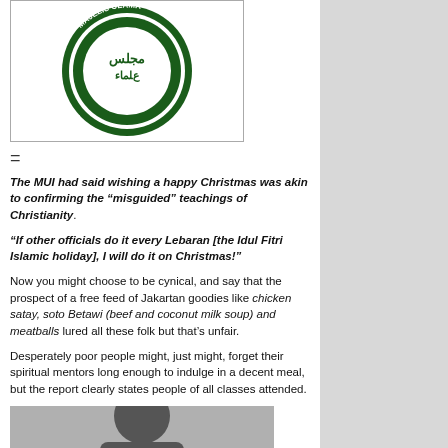[Figure (logo): MUI (Majelis Ulama Indonesia) circular green and white logo with Arabic script and the text INDONESIA]
=
The MUI had said wishing a happy Christmas was akin to confirming the “misguided” teachings of Christianity.
“If other officials do it every Lebaran [the Idul Fitri Islamic holiday], I will do it on Christmas!”
Now you might choose to be cynical, and say that the prospect of a free feed of Jakartan goodies like chicken satay, soto Betawi (beef and coconut milk soup) and meatballs lured all these folk but that’s unfair.
Desperately poor people might, just might, forget their spiritual mentors long enough to indulge in a decent meal, but the report clearly states people of all classes attended.
[Figure (photo): Partial photo of a person, cropped at bottom of page]